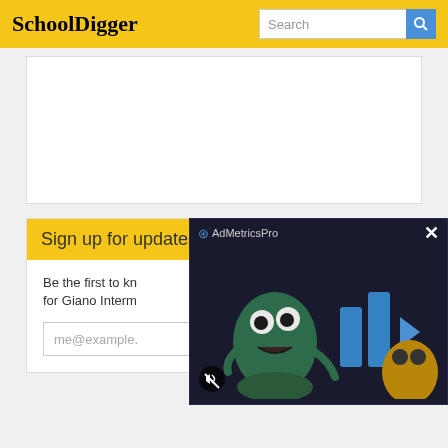SchoolDigger
[Figure (illustration): Ad placeholder white box]
Sign up for updates!
Be the first to know about ranking changes for Giano Intermediate School.
me@example.
[Figure (screenshot): AdMetricsPro video ad overlay with animated monster character and media player controls on dark background, with mute button and close (X) button]